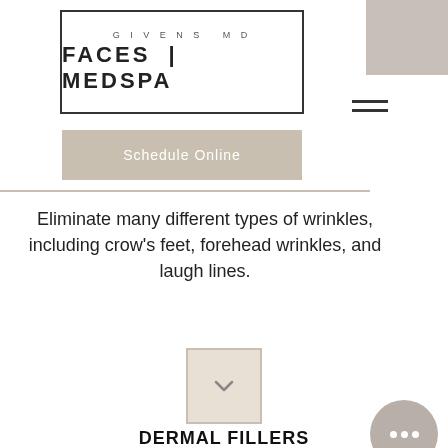[Figure (logo): Givens MD Faces | Medspa logo in a rectangular border]
[Figure (other): Gray rectangle in top right corner]
[Figure (other): Hamburger menu icon (three horizontal lines)]
[Figure (other): Tan/beige Schedule Online button]
Eliminate many different types of wrinkles, including crow's feet, forehead wrinkles, and laugh lines.
[Figure (other): Beige square box with chevron/down arrow icon]
DERMAL FILLERS
Reduce the signs of aging, minimize skin depressions and scars, and address fine lines and deep wrinkles or folds in